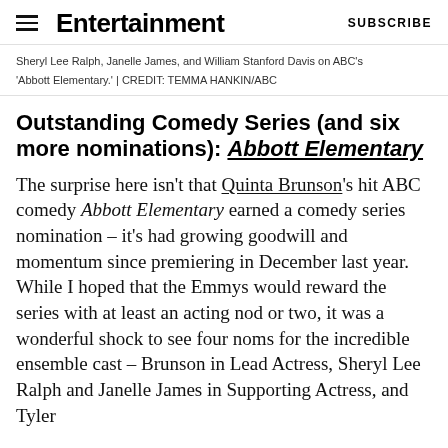Entertainment Weekly   SUBSCRIBE
Sheryl Lee Ralph, Janelle James, and William Stanford Davis on ABC's 'Abbott Elementary.' | CREDIT: TEMMA HANKIN/ABC
Outstanding Comedy Series (and six more nominations): Abbott Elementary
The surprise here isn't that Quinta Brunson's hit ABC comedy Abbott Elementary earned a comedy series nomination – it's had growing goodwill and momentum since premiering in December last year. While I hoped that the Emmys would reward the series with at least an acting nod or two, it was a wonderful shock to see four noms for the incredible ensemble cast – Brunson in Lead Actress, Sheryl Lee Ralph and Janelle James in Supporting Actress, and Tyler